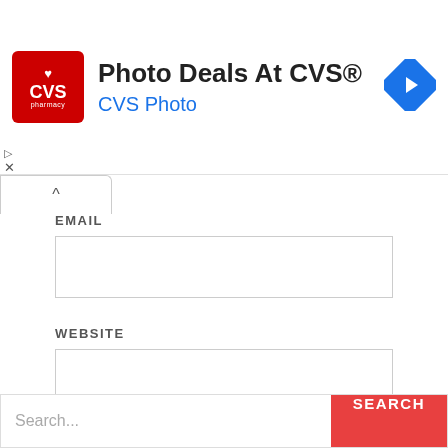[Figure (other): CVS Pharmacy advertisement banner with CVS logo, text 'Photo Deals At CVS®' and 'CVS Photo', and a blue navigation diamond icon]
EMAIL
WEBSITE
SAVE MY NAME, EMAIL, AND WEBSITE IN THIS BROWSER FOR THE NEXT TIME I COMMENT.
POST COMMENT
Search...
SEARCH